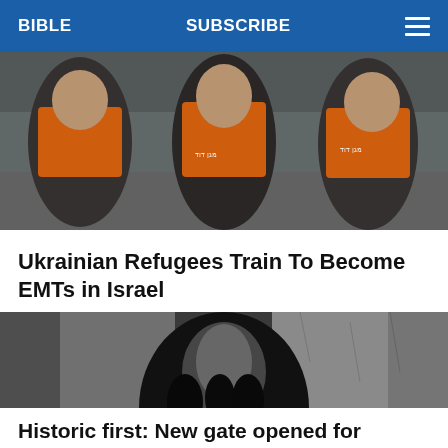BIBLE   SUBSCRIBE   ☰
[Figure (photo): Three young men in orange emergency medical technician vests posing for a photo, likely Israeli EMT volunteers]
Ukrainian Refugees Train To Become EMTs in Israel
[Figure (photo): Dark narrow stone alleyway with an arched gate, people walking through, appears to be Jerusalem's Old City near the Temple Mount]
Historic first: New gate opened for Jewish pilgrims entering Temple Mount